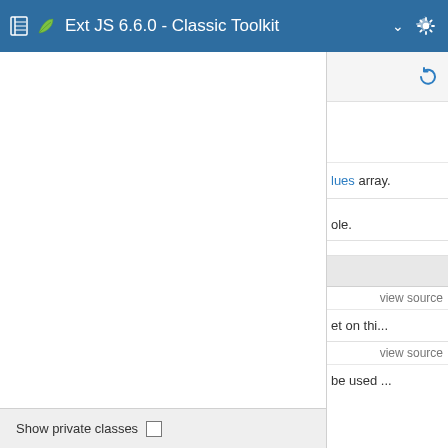Ext JS 6.6.0 - Classic Toolkit
lues array.
ole.
view source
et on thi...
view source
be used ...
Show private classes